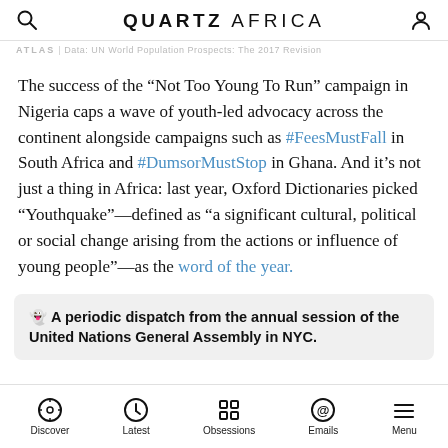QUARTZ AFRICA
ATLAS | Data: UN World Population Prospects: The 2017 Revision
The success of the “Not Too Young To Run” campaign in Nigeria caps a wave of youth-led advocacy across the continent alongside campaigns such as #FeesMustFall in South Africa and #DumsorMustStop in Ghana. And it’s not just a thing in Africa: last year, Oxford Dictionaries picked “Youthquake”—defined as “a significant cultural, political or social change arising from the actions or influence of young people”—as the word of the year.
👻 A periodic dispatch from the annual session of the United Nations General Assembly in NYC.
Discover | Latest | Obsessions | Emails | Menu